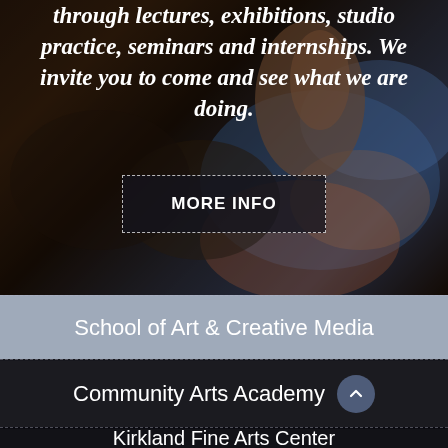[Figure (photo): Dark blurred background photo showing a hand with colorful paint, serving as hero image backdrop]
through lectures, exhibitions, studio practice, seminars and internships. We invite you to come and see what we are doing.
MORE INFO
School of Art & Creative Media
Community Arts Academy
Kirkland Fine Arts Center